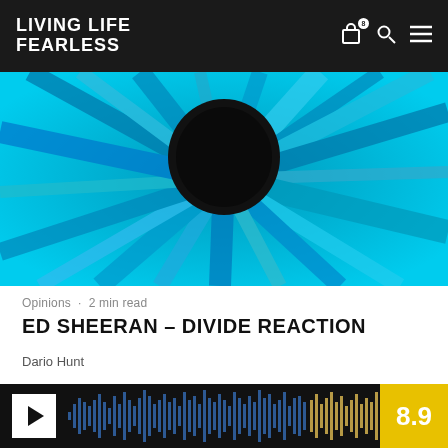LIVING LIFE FEARLESS
[Figure (photo): Close-up of an eye with bright blue iris and a dark pupil, artistic burst pattern, Ed Sheeran Divide album art style]
Opinions · 2 min read
ED SHEERAN – DIVIDE REACTION
Dario Hunt
[Figure (screenshot): Music player / album review widget showing waveform bars on dark background with play button and rating score of 8.9 on yellow background]